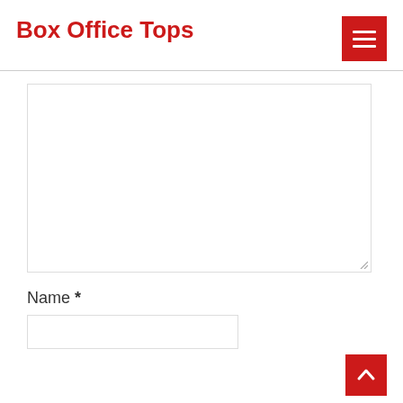Box Office Tops
[Figure (other): Red hamburger menu button with three white horizontal lines]
[Figure (other): Comment textarea input field, empty, with resize handle]
Name *
[Figure (other): Name text input field, empty]
[Figure (other): Red scroll-to-top button with white upward chevron arrow]